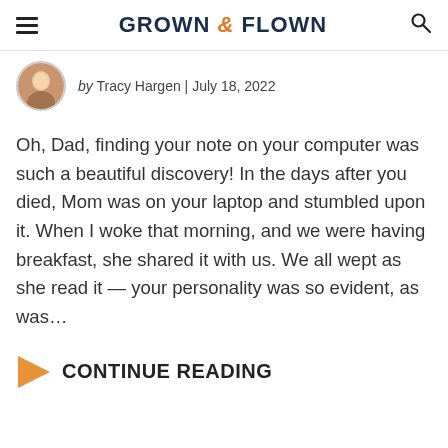GROWN & FLOWN
by Tracy Hargen | July 18, 2022
Oh, Dad, finding your note on your computer was such a beautiful discovery! In the days after you died, Mom was on your laptop and stumbled upon it. When I woke that morning, and we were having breakfast, she shared it with us. We all wept as she read it — your personality was so evident, as was…
CONTINUE READING